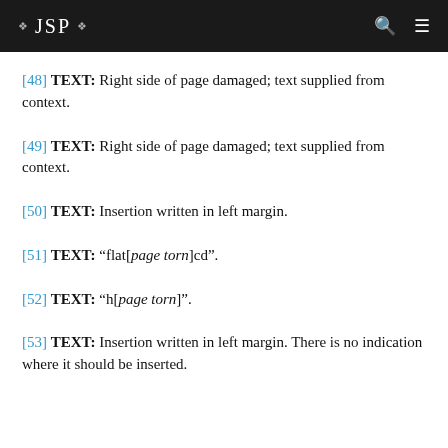JSP
[48] TEXT: Right side of page damaged; text supplied from context.
[49] TEXT: Right side of page damaged; text supplied from context.
[50] TEXT: Insertion written in left margin.
[51] TEXT: “flat[page torn]cd”.
[52] TEXT: “h[page torn]”.
[53] TEXT: Insertion written in left margin. There is no indication where it should be inserted.